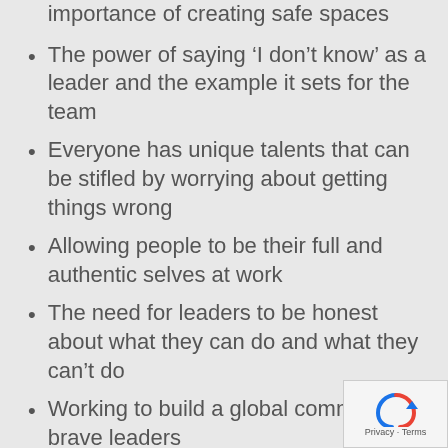importance of creating safe spaces
The power of saying ‘I don’t know’ as a leader and the example it sets for the team
Everyone has unique talents that can be stifled by worrying about getting things wrong
Allowing people to be their full and authentic selves at work
The need for leaders to be honest about what they can do and what they can’t do
Working to build a global community of brave leaders
Resources:
Talent is Never Enough